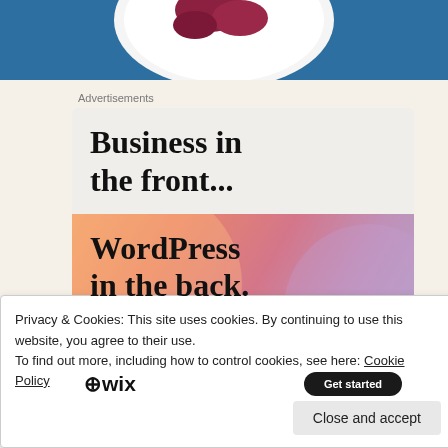[Figure (photo): Top portion of a photo showing a plate with food on a blue surface, only the bottom edge visible]
Advertisements
[Figure (screenshot): Advertisement banner. Top half: light gray background with bold text 'Business in the front...' Bottom half: colorful gradient background (orange, pink, purple) with bold text 'WordPress in the back.' and Wix logo with a dark CTA button at the bottom]
Privacy & Cookies: This site uses cookies. By continuing to use this website, you agree to their use.
To find out more, including how to control cookies, see here: Cookie Policy
Close and accept